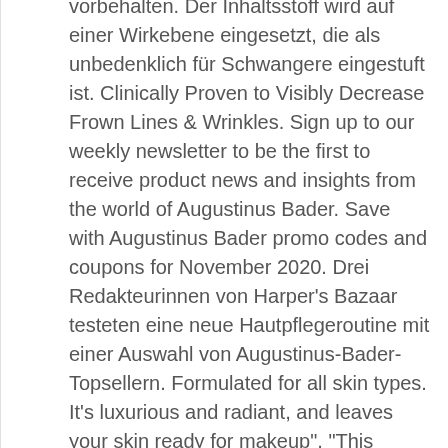vorbehalten. Der Inhaltsstoff wird auf einer Wirkebene eingesetzt, die als unbedenklich für Schwangere eingestuft ist. Clinically Proven to Visibly Decrease Frown Lines & Wrinkles. Sign up to our weekly newsletter to be the first to receive product news and insights from the world of Augustinus Bader. Save with Augustinus Bader promo codes and coupons for November 2020. Drei Redakteurinnen von Harper's Bazaar testeten eine neue Hautpflegeroutine mit einer Auswahl von Augustinus-Bader-Topsellern. Formulated for all skin types. It's luxurious and radiant, and leaves your skin ready for makeup", "This super-science focused brand's expansion into body means an approach to fixing two major concerns: stretchmarks and cellulite", "Celeb favorite Augustinus Bader The Rich Cream is worth every penny", "Cell Rejuvenating Power Serum provides serious defense against